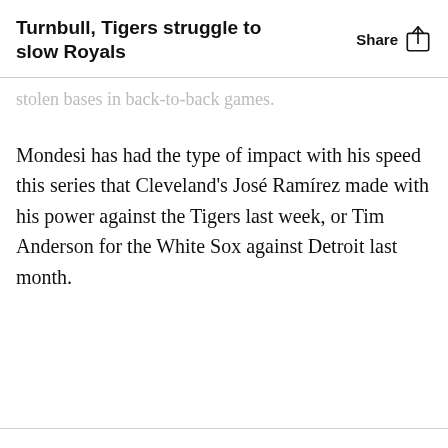Turnbull, Tigers struggle to slow Royals
stolen bases in back-to-back games.
Mondesi has had the type of impact with his speed this series that Cleveland's José Ramírez made with his power against the Tigers last week, or Tim Anderson for the White Sox against Detroit last month.
By clicking "Accept All Cookies", you agree to the storing of cookies on your device to enhance site navigation, analyze site usage, and assist in our marketing efforts.